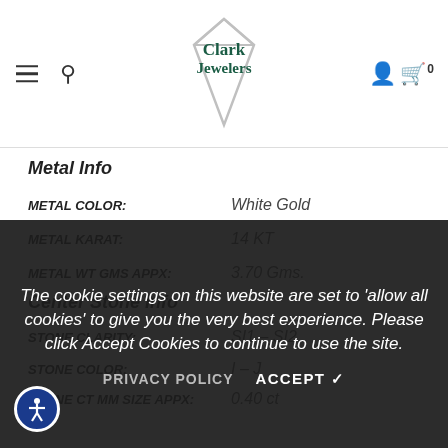Clark Jewelers — navigation header with hamburger, search, logo, account, and cart icons
Metal Info
METAL COLOR: White Gold
METAL KARAT: 14 KT
METAL WT GMS APPX: 3.70 Gms.
Center Stone Info
STONE CLARITY: SI1 – SI2
STONE COLOR: I – J
STONE CT MM SIZE APPX: 0.40 ct
The cookie settings on this website are set to 'allow all cookies' to give you the very best experience. Please click Accept Cookies to continue to use the site.
PRIVACY POLICY   ACCEPT ✓